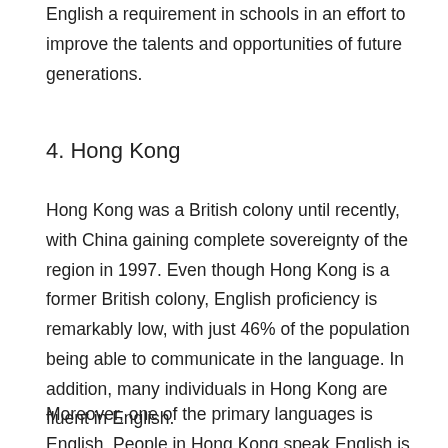English a requirement in schools in an effort to improve the talents and opportunities of future generations.
4. Hong Kong
Hong Kong was a British colony until recently, with China gaining complete sovereignty of the region in 1997. Even though Hong Kong is a former British colony, English proficiency is remarkably low, with just 46% of the population being able to communicate in the language. In addition, many individuals in Hong Kong are fluent in English.
Moreover, one of the primary languages is English. People in Hong Kong speak English is the authorities